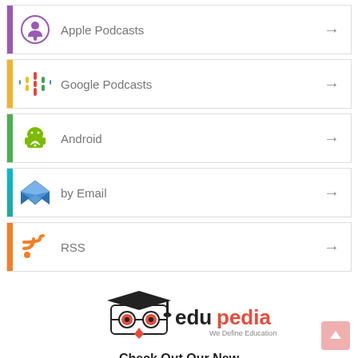Apple Podcasts
Google Podcasts
Android
by Email
RSS
[Figure (logo): Edupedia logo with graduation cap and owl glasses, text reads 'edupedia We Define Education']
Check Out Our New